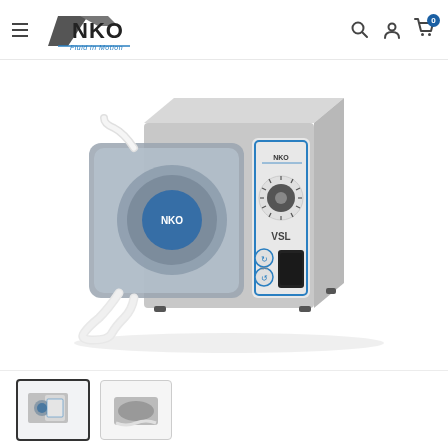ANKO Fluid in Motion — navigation header with hamburger menu, logo, search, account, and cart icons
[Figure (photo): ANKO peristaltic pump model VSL. A compact benchtop unit with a gray metal housing. The left side shows a transparent pump head cover with tubing routed through it, a blue ANKO logo on the rotor, and a white silicone tube looped at the front. The right side panel shows a blue-bordered control face with the ANKO logo, a rotary speed dial knob with tick marks, the label 'VSL', a power button with on/off arrows, and a black rectangular port/connector.]
[Figure (photo): Thumbnail 1 (active/selected): small image of the ANKO VSL peristaltic pump, front-left angle view.]
[Figure (photo): Thumbnail 2: small image showing the pump tubing or accessories, side/top view.]